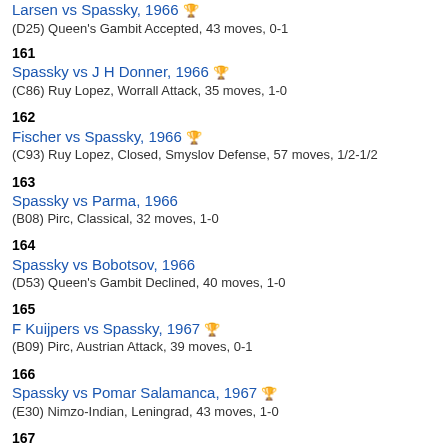Larsen vs Spassky, 1966 (D25) Queen's Gambit Accepted, 43 moves, 0-1
161 Spassky vs J H Donner, 1966 (C86) Ruy Lopez, Worrall Attack, 35 moves, 1-0
162 Fischer vs Spassky, 1966 (C93) Ruy Lopez, Closed, Smyslov Defense, 57 moves, 1/2-1/2
163 Spassky vs Parma, 1966 (B08) Pirc, Classical, 32 moves, 1-0
164 Spassky vs Bobotsov, 1966 (D53) Queen's Gambit Declined, 40 moves, 1-0
165 F Kuijpers vs Spassky, 1967 (B09) Pirc, Austrian Attack, 39 moves, 0-1
166 Spassky vs Pomar Salamanca, 1967 (E30) Nimzo-Indian, Leningrad, 43 moves, 1-0
167